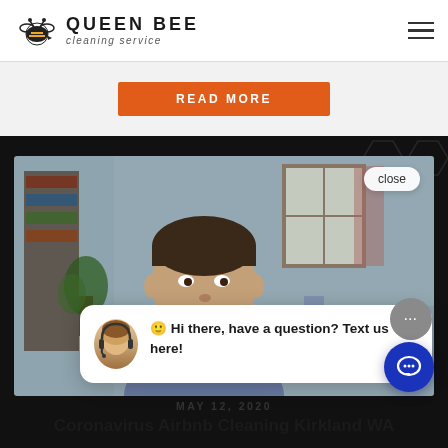QUEEN BEE cleaning service
READ MORE
[Figure (photo): Screenshot of a website for Queen Bee Cleaning Service showing a video thumbnail of a man in a gray shirt in a home environment, with a chat popup overlay saying 'Hi there, have a question? Text us here!' and a close button.]
close
🙂 Hi there, have a question? Text us here!
MAY 12, 2020
Coronavirus Airbnb Cleaning Kirkland WA